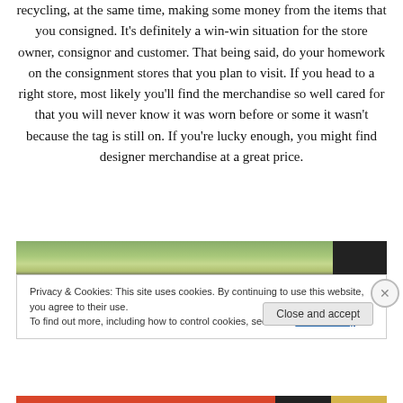recycling, at the same time, making some money from the items that you consigned. It's definitely a win-win situation for the store owner, consignor and customer. That being said, do your homework on the consignment stores that you plan to visit. If you head to a right store, most likely you'll find the merchandise so well cared for that you will never know it was worn before or some it wasn't because the tag is still on. If you're lucky enough, you might find designer merchandise at a great price.
[Figure (photo): A partial outdoor photo strip showing green foliage and a dark vertical element on the right, partially cropped at top of a cookie consent banner.]
Privacy & Cookies: This site uses cookies. By continuing to use this website, you agree to their use.
To find out more, including how to control cookies, see here: Cookie Policy